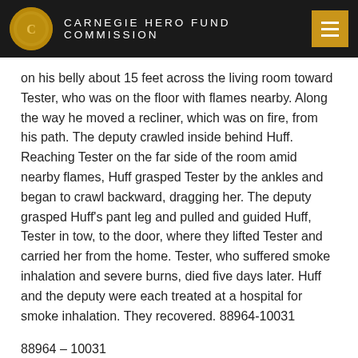CARNEGIE HERO FUND COMMISSION
on his belly about 15 feet across the living room toward Tester, who was on the floor with flames nearby. Along the way he moved a recliner, which was on fire, from his path. The deputy crawled inside behind Huff. Reaching Tester on the far side of the room amid nearby flames, Huff grasped Tester by the ankles and began to crawl backward, dragging her. The deputy grasped Huff’s pant leg and pulled and guided Huff, Tester in tow, to the door, where they lifted Tester and carried her from the home. Tester, who suffered smoke inhalation and severe burns, died five days later. Huff and the deputy were each treated at a hospital for smoke inhalation. They recovered. 88964-10031
88964 – 10031
88964-10031